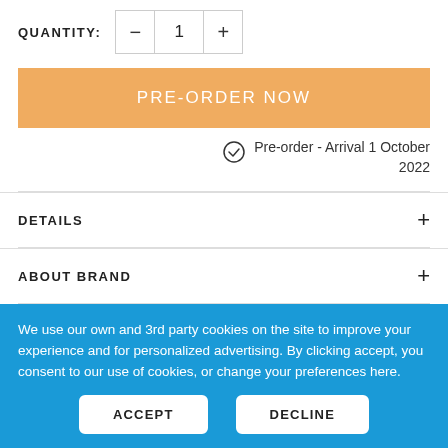QUANTITY: − 1 +
PRE-ORDER NOW
Pre-order - Arrival 1 October 2022
DETAILS
ABOUT BRAND
SPECIFICATIONS
We use our own and 3rd party cookies on the site to improve your experience and for personalized advertising. By clicking accept, you consent to our use of cookies, or change your preferences here.
ACCEPT
DECLINE